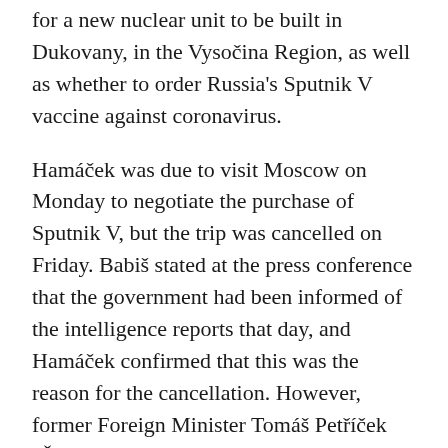for a new nuclear unit to be built in Dukovany, in the Vysočina Region, as well as whether to order Russia's Sputnik V vaccine against coronavirus.
Hamáček was due to visit Moscow on Monday to negotiate the purchase of Sputnik V, but the trip was cancelled on Friday. Babiš stated at the press conference that the government had been informed of the intelligence reports that day, and Hamáček confirmed that this was the reason for the cancellation. However, former Foreign Minister Tomáš Petříček (ČSSD) told Czech news server Deník N that the information was already known in government circles before then.
The Russian Interfax news agency reported that Vladimir Dzhabarov, first deputy head of the upper house's international affairs committee, had described the Czech government's allegations that Russian intelligence